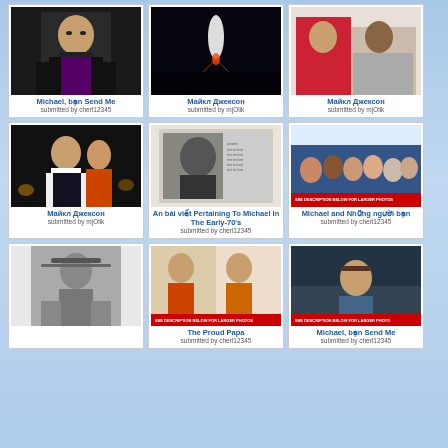[Figure (photo): Michael Jackson in black jacket and sunglasses, purple shirt]
Michael, bạn Send Me
submitted by cherl12345
[Figure (photo): Concert stage with spotlight]
Майкл Джексон
submitted by mjOlik
[Figure (photo): Michael Jackson in red jacket with another person]
Майкл Джексон
submitted by mjOlik
[Figure (photo): Michael Jackson performing on stage with female dancer]
Майкл Джексон
submitted by mjOlik
[Figure (photo): Newspaper clipping about Michael Jackson in early 70s]
An bài viết Pertaining To Michael In The Early-70's
submitted by cherl12345
[Figure (photo): Michael Jackson and friends group photo]
Michael and Những người bạn
submitted by cherl12345
[Figure (photo): Michael Jackson wearing hat, black and white photo]
[Figure (photo): The Proud Papa - Michael Jackson with children]
The Proud Papa
submitted by cherl12345
[Figure (photo): Michael Jackson in plaid shirt near water at sunset]
Michael, bạn Send Me
submitted by cherl12345